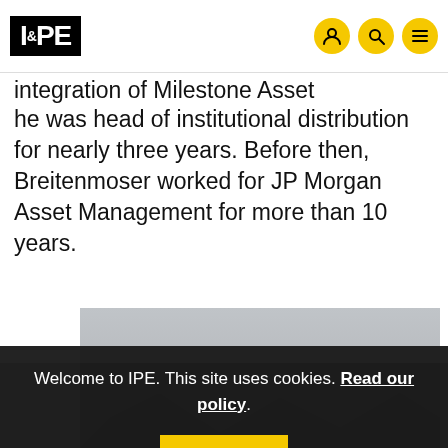IPE
integration of Milestone Asset Management, where he was head of institutional distribution for nearly three years. Before then, Breitenmoser worked for JP Morgan Asset Management for more than 10 years.
[Figure (photo): Grayscale photo partially visible behind cookie consent banner]
Welcome to IPE. This site uses cookies. Read our policy.
OK